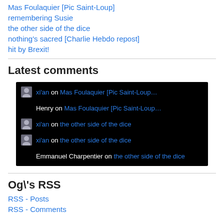Mas Foulaquier [Pic Saint-Loup]
remembering Susie
the other side of the dice
nothing's sacred [Charlie Hebdo repost]
hit by Brexit!
Latest comments
[Figure (screenshot): Black background panel showing latest comments: xi'an on Mas Foulaquier [Pic Saint-Loup…], Henry on Mas Foulaquier [Pic Saint-Loup…], xi'an on the other side of the dice, xi'an on the other side of the dice, Emmanuel Charpentier on the other side of the dice]
Og\'s RSS
RSS - Posts
RSS - Comments